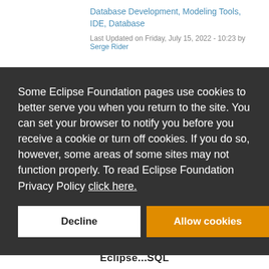Database Development, Modeling Tools, IDE, Database
Last Updated on Friday, July 15, 2022 - 10:23 by Serge Rider
Some Eclipse Foundation pages use cookies to better serve you when you return to the site. You can set your browser to notify you before you receive a cookie or turn off cookies. If you do so, however, some areas of some sites may not function properly. To read Eclipse Foundation Privacy Policy click here.
Decline
Allow cookies
Eclipse...SQL